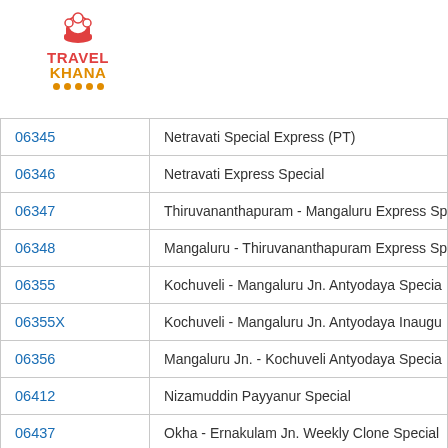[Figure (logo): TravelKhana logo with chef hat icon, red TRAVEL text and orange KHANA text with orange dot decorations]
| Train No. | Train Name |
| --- | --- |
| 06345 | Netravati Special Express (PT) |
| 06346 | Netravati Express Special |
| 06347 | Thiruvananthapuram - Mangaluru Express Sp |
| 06348 | Mangaluru - Thiruvananthapuram Express Sp |
| 06355 | Kochuveli - Mangaluru Jn. Antyodaya Specia |
| 06355X | Kochuveli - Mangaluru Jn. Antyodaya Inaugu |
| 06356 | Mangaluru Jn. - Kochuveli Antyodaya Specia |
| 06412 | Nizamuddin Payyanur Special |
| 06437 | Okha - Ernakulam Jn. Weekly Clone Special |
| 06438 | Ernakulam Jn. - Okha Weekly Clone Special |